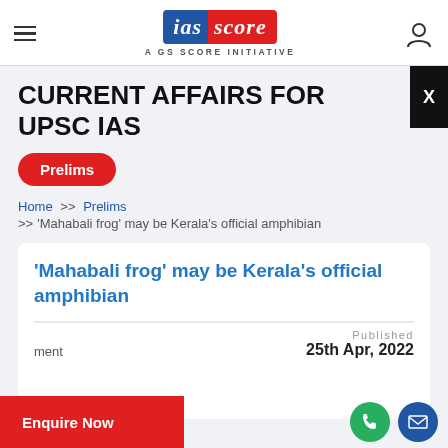ias score — A GS SCORE INITIATIVE
CURRENT AFFAIRS FOR UPSC IAS
Prelims
Home >> Prelims >> 'Mahabali frog' may be Kerala's official amphibian
'Mahabali frog' may be Kerala's official amphibian
Published 25th Apr, 2022
Enquire Now